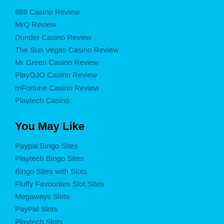888 Casino Review
MrQ Review
Dunder Casino Review
The Sun Vegas Casino Review
Mr Green Casino Review
PlayOJO Casino Review
mFortune Casino Review
Playtech Casino
You May Like
Paypal Bingo Sites
Playtech Bingo Sites
Bingo Sites with Slots
Fluffy Favourites Slot Sites
Megaways Slots
PayPal Slots
Playtech Slots
Big Time Gaming Slots